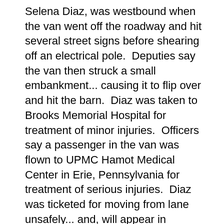Selena Diaz, was westbound when the van went off the roadway and hit several street signs before shearing off an electrical pole.  Deputies say the van then struck a small embankment... causing it to flip over and hit the barn.  Diaz was taken to Brooks Memorial Hospital for treatment of minor injuries.  Officers say a passenger in the van was flown to UPMC Hamot Medical Center in Erie, Pennsylvania for treatment of serious injuries.  Diaz was ticketed for moving from lane unsafely... and, will appear in Pomfret Town Court at a later date.  Route 20 was closed in that area for a time to clear the scene.
Gillibrand able to get illegal gun trafficking measure into federal Gun Control legislation...
New York's junior U.S. Senator has been able to get federal gun trafficking legislation into the bi-partisan gun safety deal to be acted on sometime in the next two weeks.  Democrat Kirsten Gillibrand says -- if approved -- the provision would address a serious concern and